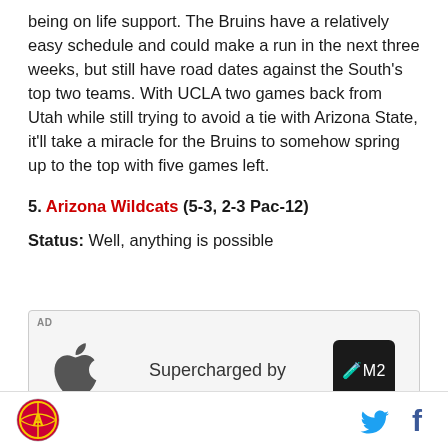being on life support. The Bruins have a relatively easy schedule and could make a run in the next three weeks, but still have road dates against the South's top two teams. With UCLA two games back from Utah while still trying to avoid a tie with Arizona State, it'll take a miracle for the Bruins to somehow spring up to the top with five games left.
5. Arizona Wildcats (5-3, 2-3 Pac-12)
Status: Well, anything is possible
[Figure (other): Apple advertisement: Apple logo on left, text 'Supercharged by' in center, M2 chip icon on right, on light gray background with AD label]
Arizona Wildcats logo | Twitter icon | Facebook icon